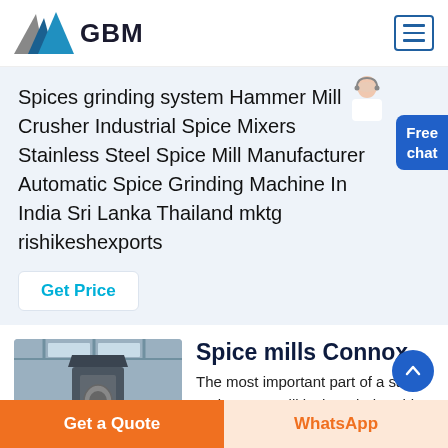[Figure (logo): GBM logo with triangular blue/grey mountain shapes and bold GBM text]
Spices grinding system Hammer Mill Crusher Industrial Spice Mixers Stainless Steel Spice Mill Manufacturer Automatic Spice Grinding Machine In India Sri Lanka Thailand mktg rishikeshexports
Get Price
[Figure (photo): Industrial spice mill machine in a factory setting]
Spice mills Connox
The most important part of a salt and pepper mill is the grinder This should be made of cerami...
Get a Quote
WhatsApp